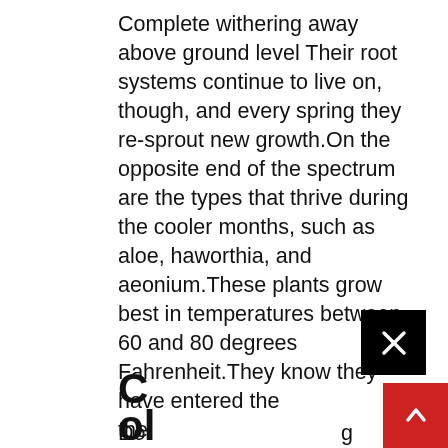Complete withering away above ground level Their root systems continue to live on, though, and every spring they re-sprout new growth.On the opposite end of the spectrum are the types that thrive during the cooler months, such as aloe, haworthia, and aeonium.These plants grow best in temperatures between 60 and 80 degrees Fahrenheit.They know they have entered the sho
C...
ol
Do ... g